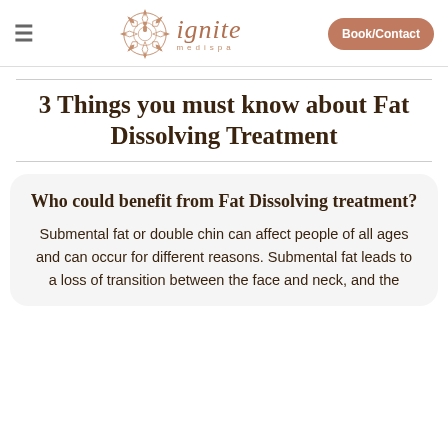ignite medispa — Book/Contact
3 Things you must know about Fat Dissolving Treatment
Who could benefit from Fat Dissolving treatment?
Submental fat or double chin can affect people of all ages and can occur for different reasons. Submental fat leads to a loss of transition between the face and neck, and the